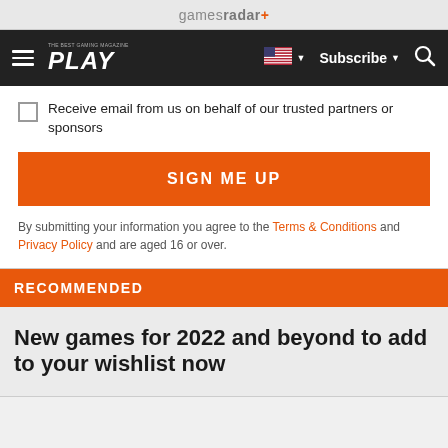gamesradar+
[Figure (screenshot): Navigation bar with hamburger menu, PLAY logo, US flag with dropdown, Subscribe button, and search icon]
Receive email from us on behalf of our trusted partners or sponsors
SIGN ME UP
By submitting your information you agree to the Terms & Conditions and Privacy Policy and are aged 16 or over.
RECOMMENDED
New games for 2022 and beyond to add to your wishlist now